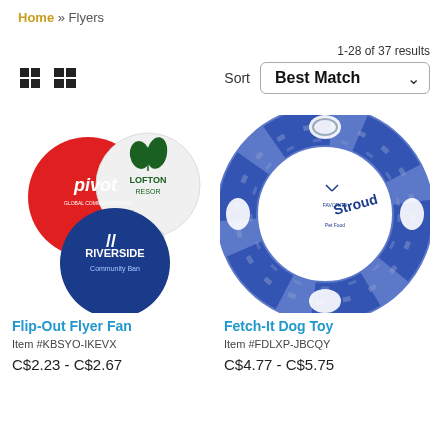Home » Flyers
1-28 of 37 results
[Figure (screenshot): Toolbar with grid/list view icons and a Sort dropdown showing 'Best Match']
[Figure (photo): Flip-Out Flyer Fan product image: three foldable circular fans showing Pivot, Lofton Resort, and Riverside Community Bank logos]
Flip-Out Flyer Fan
Item #KBSYO-IKEVX
C$2.23 - C$2.67
[Figure (photo): Fetch-It Dog Toy product image: a blue fabric ring frisbee toy with rope handles and Stroud Pet Food logo]
Fetch-It Dog Toy
Item #FDLXP-JBCQY
C$4.77 - C$5.75